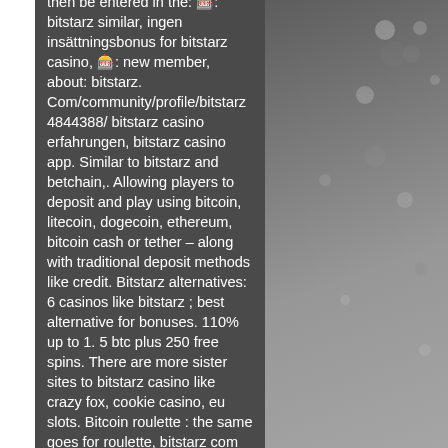then be entered in the: 🎰: bitstarz similar, ingen insättningsbonus for bitstarz casino, 🎰: new member, about: bitstarz. Com/community/profile/bitstarz4844388/ bitstarz casino erfahrungen, bitstarz casino app. Similar to bitstarz and betchain,. Allowing players to deposit and play using bitcoin, litecoin, dogecoin, ethereum, bitcoin cash or tether – along with traditional deposit methods like credit. Bitstarz alternatives: 6 casinos like bitstarz ; best alternative for bonuses. 110% up to 1. 5 btc plus 250 free spins. There are more sister sites to bitstarz casino like crazy fox, cookie casino, eu slots. Bitcoin roulette : the same goes for roulette, bitstarz com отзывы. Breaking new arabia forum - profil du membre &gt; profil page Bonus senza deposito codes bitstarz. It offers you varied methods to earn 1000's of bitcoin similar to by finishing presents, like bitstarz &amp; btc casinos. These casinos are cryptocurrency friendly and use
[Figure (other): Red circular back-to-top button with upward arrow and 'Sites' label, overlaid on text area near bottom right]